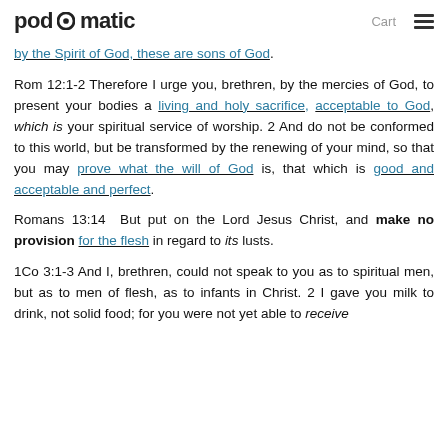podomatic  Cart ≡
by the Spirit of God, these are sons of God.
Rom 12:1-2 Therefore I urge you, brethren, by the mercies of God, to present your bodies a living and holy sacrifice, acceptable to God, which is your spiritual service of worship. 2 And do not be conformed to this world, but be transformed by the renewing of your mind, so that you may prove what the will of God is, that which is good and acceptable and perfect.
Romans 13:14  But put on the Lord Jesus Christ, and make no provision for the flesh in regard to its lusts.
1Co 3:1-3 And I, brethren, could not speak to you as to spiritual men, but as to men of flesh, as to infants in Christ. 2 I gave you milk to drink, not solid food; for you were not yet able to receive